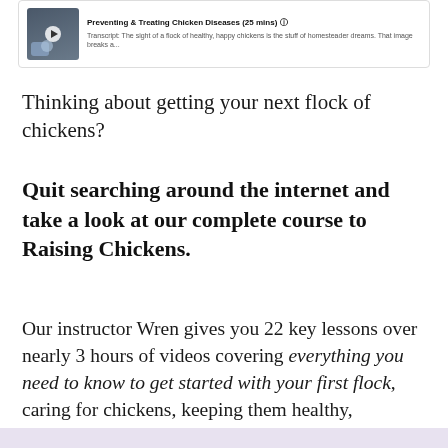[Figure (screenshot): Video thumbnail card showing 'Preventing & Treating Chicken Diseases (25 mins)' with a photo of chickens and a transcript excerpt: 'The sight of a flock of healthy, happy chickens is the stuff of homesteader dreams. That image breaks a...']
Thinking about getting your next flock of chickens?
Quit searching around the internet and take a look at our complete course to Raising Chickens.
Our instructor Wren gives you 22 key lessons over nearly 3 hours of videos covering everything you need to know to get started with your first flock, caring for chickens, keeping them healthy, diagnosing problems, and more.